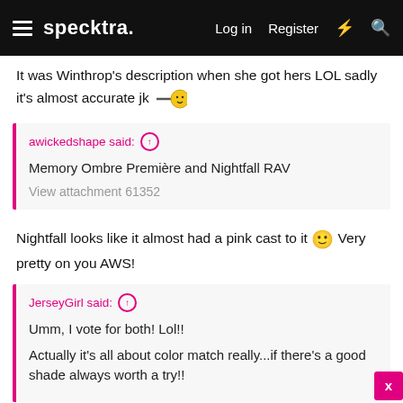specktra. | Log in | Register
It was Winthrop's description when she got hers LOL sadly it's almost accurate jk 🎯
awickedshape said: ↑
Memory Ombre Première and Nightfall RAV
View attachment 61352
Nightfall looks like it almost had a pink cast to it 🙂 Very pretty on you AWS!
JerseyGirl said: ↑
Umm, I vote for both! Lol!!
Actually it's all about color match really...if there's a good shade always worth a try!!